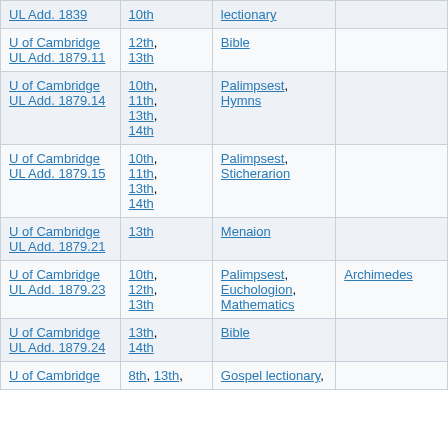| UL Add. 1839 | 10th | lectionary |  |
| U of Cambridge UL Add. 1879.11 | 12th, 13th | Bible |  |
| U of Cambridge UL Add. 1879.14 | 10th, 11th, 13th, 14th | Palimpsest, Hymns |  |
| U of Cambridge UL Add. 1879.15 | 10th, 11th, 13th, 14th | Palimpsest, Sticherarion |  |
| U of Cambridge UL Add. 1879.21 | 13th | Menaion |  |
| U of Cambridge UL Add. 1879.23 | 10th, 12th, 13th | Palimpsest, Euchologion, Mathematics | Archimedes |
| U of Cambridge UL Add. 1879.24 | 13th, 14th | Bible |  |
| U of Cambridge | 8th, 13th, | Gospel lectionary, |  |